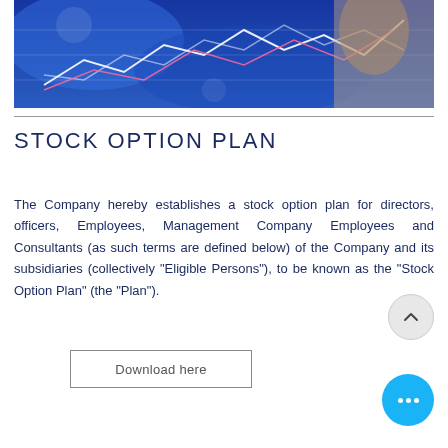[Figure (photo): Close-up photo of a hand pointing at a financial chart/graph on a screen with blue and white data lines on a blue background]
STOCK OPTION PLAN
The Company hereby establishes a stock option plan for directors, officers, Employees, Management Company Employees and Consultants (as such terms are defined below) of the Company and its subsidiaries (collectively “Eligible Persons”), to be known as the “Stock Option Plan” (the “Plan”).